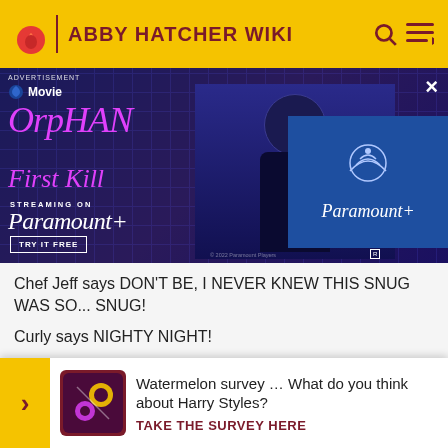ABBY HATCHER WIKI
[Figure (screenshot): Advertisement for Orphan: First Kill, streaming on Paramount+. Shows movie title in pink cursive on dark blue background with girl image, Paramount+ logo box on right, 'TRY IT FREE' button.]
Chef Jeff says DON'T BE, I NEVER KNEW THIS SNUG WAS SO... SNUG!
Curly says NIGHTY NIGHT!
Chef Jeff says NIGHTY NIGHT, CURLY. (SNORING) (BOZZLY SHO...
Flying...
[Figure (screenshot): Survey popup: Watermelon survey. What do you think about Harry Styles? TAKE THE SURVEY HERE]
Watermelon survey … What do you think about Harry Styles? TAKE THE SURVEY HERE